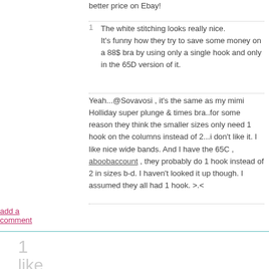better price on Ebay!
1  The white stitching looks really nice. It's funny how they try to save some money on a 88$ bra by using only a single hook and only in the 65D version of it.
Yeah...@Sovavosi , it's the same as my mimi Holliday super plunge & times bra..for some reason they think the smaller sizes only need 1 hook on the columns instead of 2...i don't like it. I like nice wide bands. And I have the 65C , aboobaccount , they probably do 1 hook instead of 2 in sizes b-d. I haven't looked it up though. I assumed they all had 1 hook. >.<
add a comment
1
like